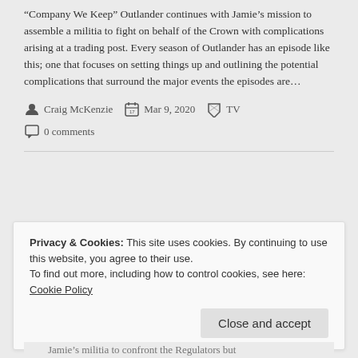“Company We Keep” Outlander continues with Jamie’s mission to assemble a militia to fight on behalf of the Crown with complications arising at a trading post. Every season of Outlander has an episode like this; one that focuses on setting things up and outlining the potential complications that surround the major events the episodes are…
Craig McKenzie   Mar 9, 2020   TV   0 comments
Privacy & Cookies: This site uses cookies. By continuing to use this website, you agree to their use.
To find out more, including how to control cookies, see here: Cookie Policy
Close and accept
Jamie’s militia to confront the Regulators but